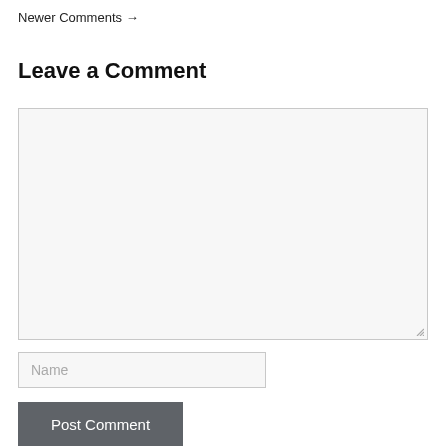Newer Comments →
Leave a Comment
[Figure (other): Large empty text area input field with light gray background and a resize handle in the bottom-right corner]
[Figure (other): Text input field with placeholder text 'Name' and light gray background]
[Figure (other): Dark gray submit button labeled 'Post Comment']